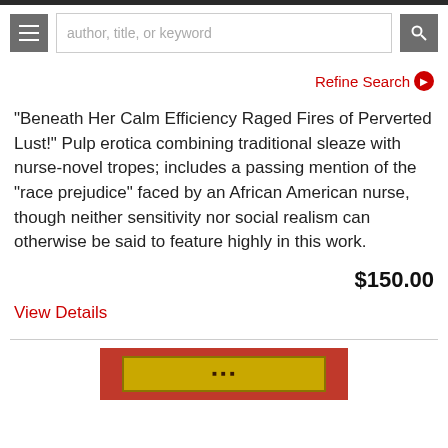author, title, or keyword
Refine Search
"Beneath Her Calm Efficiency Raged Fires of Perverted Lust!" Pulp erotica combining traditional sleaze with nurse-novel tropes; includes a passing mention of the "race prejudice" faced by an African American nurse, though neither sensitivity nor social realism can otherwise be said to feature highly in this work.
$150.00
View Details
[Figure (photo): Partial view of a book cover with red and gold/yellow coloring, showing the top portion of a pulp paperback cover.]